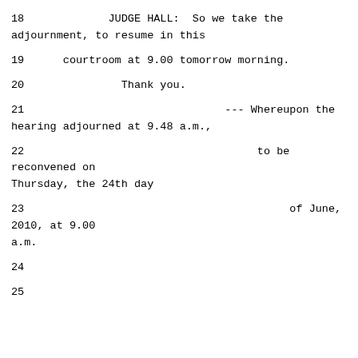18             JUDGE HALL:  So we take the adjournment, to resume in this
19      courtroom at 9.00 tomorrow morning.
20               Thank you.
21                               --- Whereupon the hearing adjourned at 9.48 a.m.,
22                                    to be reconvened on Thursday, the 24th day
23                                         of June, 2010, at 9.00 a.m.
24
25